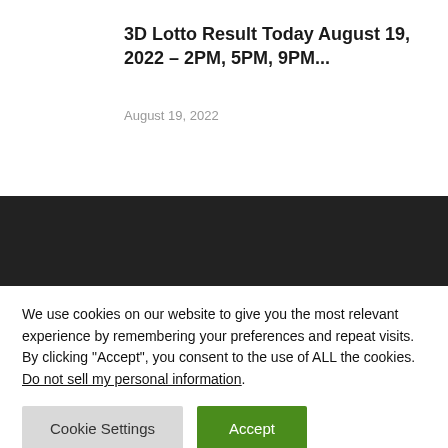3D Lotto Result Today August 19, 2022 – 2PM, 5PM, 9PM...
August 19, 2022
EDITOR PICKS
We use cookies on our website to give you the most relevant experience by remembering your preferences and repeat visits. By clicking “Accept”, you consent to the use of ALL the cookies.
Do not sell my personal information.
Cookie Settings
Accept